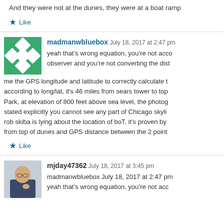And they were not at the dunes, they were at a boat ramp
Like
madmanwbluebox July 18, 2017 at 2:47 pm
[Figure (illustration): Green avatar with diamond/star pattern]
yeah that's wrong equation, you're not accounting for the height of the observer and you're not converting the distance. Give me the GPS longitude and latitude to correctly calculate t... according to long/lat, it's 46 miles from sears tower to top... Park, at elevation of 800 feet above sea level, the photog... stated explicitly you cannot see any part of Chicago skyli... rob skiba is lying about the location of boT, it's proven by... from top of dunes and GPS distance between the 2 point
Like
mjday47362 July 18, 2017 at 3:45 pm
[Figure (photo): Profile photo of a person]
madmanwbluebox July 18, 2017 at 2:47 pm
yeah that's wrong equation, you're not acc